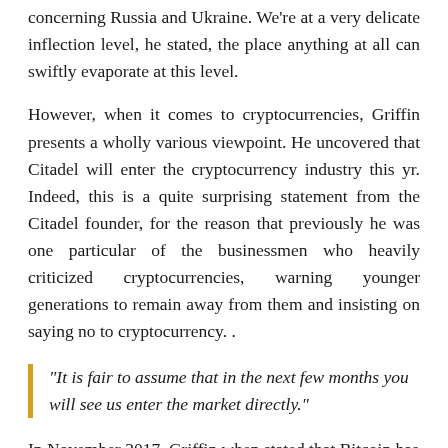concerning Russia and Ukraine. We're at a very delicate inflection level, he stated, the place anything at all can swiftly evaporate at this level.
However, when it comes to cryptocurrencies, Griffin presents a wholly various viewpoint. He uncovered that Citadel will enter the cryptocurrency industry this yr. Indeed, this is a quite surprising statement from the Citadel founder, for the reason that previously he was one particular of the businessmen who heavily criticized cryptocurrencies, warning younger generations to remain away from them and insisting on saying no to cryptocurrency. .
“It is fair to assume that in the next few months you will see us enter the market directly.”
In November 2017, Griffin when stated that Bitcoin has